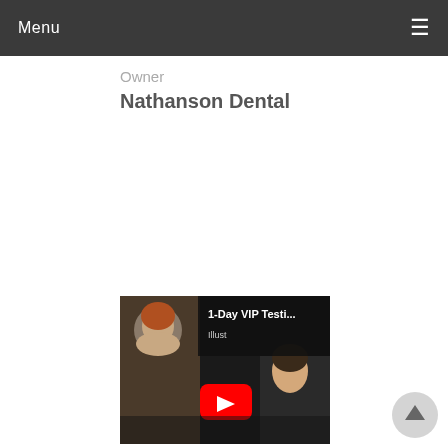Menu
Owner
Nathanson Dental
[Figure (screenshot): YouTube video thumbnail showing '1-Day VIP Testi...' with a woman on the left and a YouTube play button overlay. Two people visible.]
[Figure (other): Circular scroll-to-top button with an upward arrow, light gray background.]